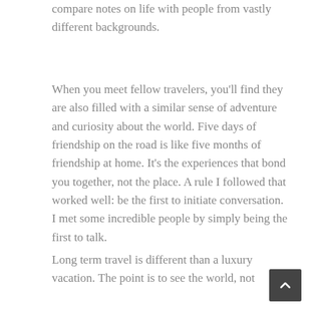compare notes on life with people from vastly different backgrounds.
When you meet fellow travelers, you'll find they are also filled with a similar sense of adventure and curiosity about the world. Five days of friendship on the road is like five months of friendship at home. It's the experiences that bond you together, not the place. A rule I followed that worked well: be the first to initiate conversation. I met some incredible people by simply being the first to talk.
Long term travel is different than a luxury vacation. The point is to see the world, not